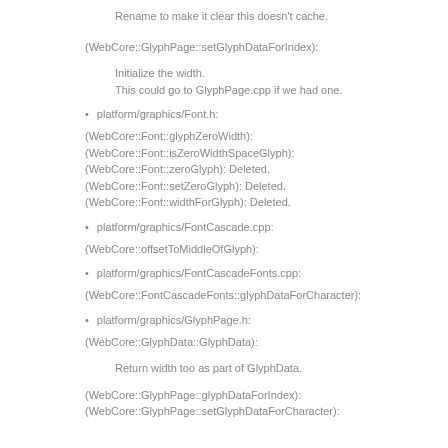Rename to make it clear this doesn't cache.
(WebCore::GlyphPage::setGlyphDataForIndex):
Initialize the width.
This could go to GlyphPage.cpp if we had one.
platform/graphics/Font.h:
(WebCore::Font::glyphZeroWidth):
(WebCore::Font::isZeroWidthSpaceGlyph):
(WebCore::Font::zeroGlyph): Deleted.
(WebCore::Font::setZeroGlyph): Deleted.
(WebCore::Font::widthForGlyph): Deleted.
platform/graphics/FontCascade.cpp:
(WebCore::offsetToMiddleOfGlyph):
platform/graphics/FontCascadeFonts.cpp:
(WebCore::FontCascadeFonts::glyphDataForCharacter):
platform/graphics/GlyphPage.h:
(WebCore::GlyphData::GlyphData):
Return width too as part of GlyphData.
(WebCore::GlyphPage::glyphDataForIndex):
(WebCore::GlyphPage::setGlyphDataForCharacter):